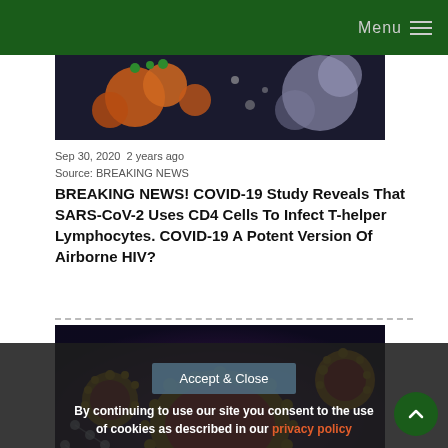Menu
[Figure (photo): Scientific illustration of virus particles and immune cells on dark background, orange and grey colored]
Sep 30, 2020  2 years ago
Source: BREAKING NEWS
BREAKING NEWS! COVID-19 Study Reveals That SARS-CoV-2 Uses CD4 Cells To Infect T-helper Lymphocytes. COVID-19 A Potent Version Of Airborne HIV?
[Figure (photo): 3D scientific illustration of coronavirus particles, yellow spiky virus on red/purple background with smaller orange virus particles]
By continuing to use our site you consent to the use of cookies as described in our privacy policy